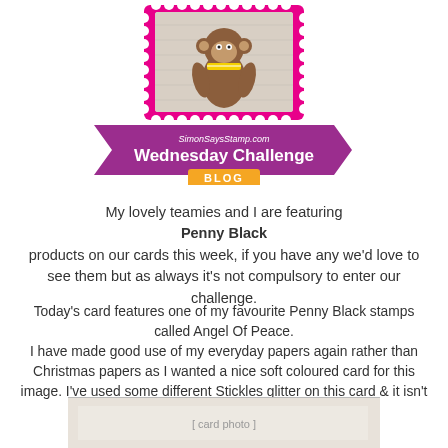[Figure (logo): Simon Says Stamp Wednesday Challenge Blog logo — a pink ticket-stamp shape with a cartoon monkey wearing a yellow scarf, and a purple banner ribbon below reading 'SimonSaysStamp.com Wednesday Challenge' with an orange 'BLOG' badge]
My lovely teamies and I are featuring Penny Black products on our cards this week, if you have any we'd love to see them but as always it's not compulsory to enter our challenge.
Today's card features one of my favourite Penny Black stamps called Angel Of Peace. I have made good use of my everyday papers again rather than Christmas papers as I wanted a nice soft coloured card for this image. I've used some different Stickles glitter on this card & it isn't as fine as I usually use but I think I like it!
[Figure (photo): Partial view of a handmade card at the bottom of the page]